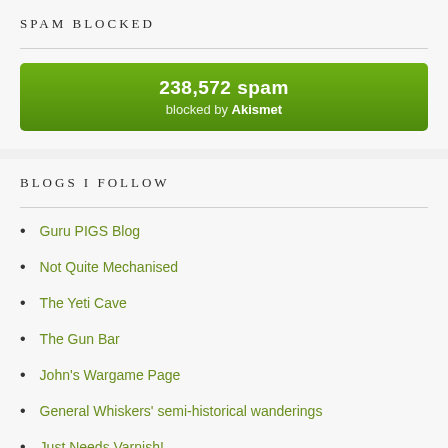SPAM BLOCKED
[Figure (infographic): Green Akismet spam counter button showing '238,572 spam blocked by Akismet']
BLOGS I FOLLOW
Guru PIGS Blog
Not Quite Mechanised
The Yeti Cave
The Gun Bar
John's Wargame Page
General Whiskers' semi-historical wanderings
Just Needs Varnish!